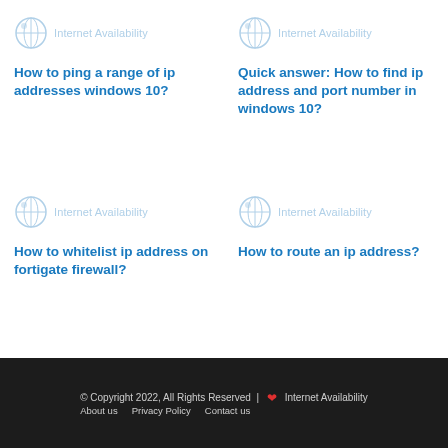[Figure (logo): Internet Availability logo placeholder - globe icon with text 'Internet Availability' in light blue]
How to ping a range of ip addresses windows 10?
[Figure (logo): Internet Availability logo placeholder - globe icon with text 'Internet Availability' in light blue]
Quick answer: How to find ip address and port number in windows 10?
[Figure (logo): Internet Availability logo placeholder - globe icon with text 'Internet Availability' in light blue]
How to whitelist ip address on fortigate firewall?
[Figure (logo): Internet Availability logo placeholder - globe icon with text 'Internet Availability' in light blue]
How to route an ip address?
© Copyright 2022, All Rights Reserved | ❤ Internet Availability  About us  Privacy Policy  Contact us